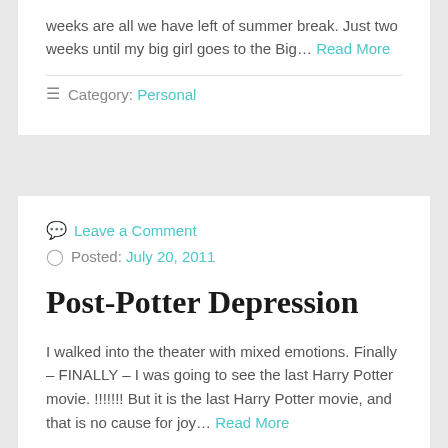weeks are all we have left of summer break. Just two weeks until my big girl goes to the Big… Read More
☰ Category: Personal
💬 Leave a Comment
🕐 Posted: July 20, 2011
Post-Potter Depression
I walked into the theater with mixed emotions. Finally – FINALLY – I was going to see the last Harry Potter movie. !!!!!!! But it is the last Harry Potter movie, and that is no cause for joy… Read More